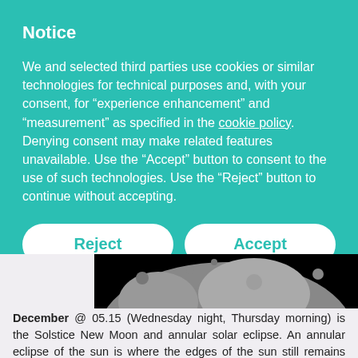Notice
We and selected third parties use cookies or similar technologies for technical purposes and, with your consent, for “experience enhancement” and “measurement” as specified in the cookie policy. Denying consent may make related features unavailable. Use the “Accept” button to consent to the use of such technologies. Use the “Reject” button to continue without accepting.
[Figure (screenshot): Cookie consent dialog with Reject, Accept, and Learn more buttons on teal background]
[Figure (photo): Close-up photograph of the moon surface showing craters against a black sky]
December @ 05.15 (Wednesday night, Thursday morning) is the Solstice New Moon and annular solar eclipse. An annular eclipse of the sun is where the edges of the sun still remains visible as a bright ring